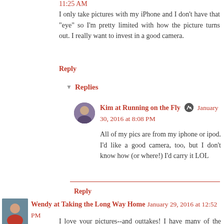11:25 AM
I only take pictures with my iPhone and I don't have that "eye" so I'm pretty limited with how the picture turns out. I really want to invest in a good camera.
Reply
Replies
Kim at Running on the Fly  January 30, 2016 at 8:08 PM
All of my pics are from my iphone or ipod. I'd like a good camera, too, but I don't know how (or where!) I'd carry it LOL
Reply
Wendy at Taking the Long Way Home  January 29, 2016 at 12:52 PM
I love your pictures--and outtakes! I have many of the same ones, especially of me setting up the camera! LOL